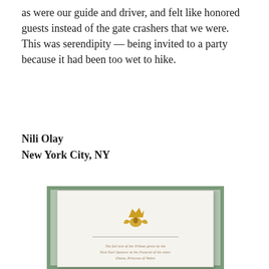as were our guide and driver, and felt like honored guests instead of the gate crashers that we were. This was serendipity — being invited to a party because it had been too wet to hike.
Nili Olay
New York City, NY
[Figure (photo): A photograph of an open formal invitation or tribute booklet showing a royal/heraldic crest at the top, a horizontal divider line, and italic script text below reading about a tribute given by a notable earl at the funeral of the late Diana Princess of Wales.]